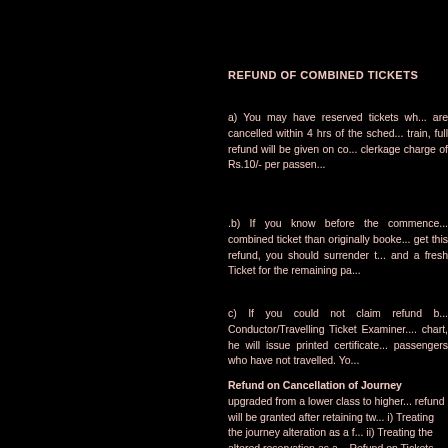REFUND OF COMBINED TICKETS
a) You may have reserved tickets wh... are cancelled within 4 hrs of the sched... train, full refund will be given on co... clerkage charge of Rs.10/- per passen...
.b) If you know before the commence... combined ticket than originally booke... get this refund, you should surrender t... and a fresh Ticket for the remaining pa...
c) If you could not claim refund b... Conductor/Travelling Ticket Examiner.... chart, he will issue printed certificate... passengers who have not travelled. Yo...
Refund on Cancellation of Journey
upgraded from a lower class to higher... refund will be granted after retaining tw... i) Treating the journey alteration as a f... ii) Treating the altered reservation as a... Refund on Tickets Booked against Mili... Military personnel who cancel tickets...